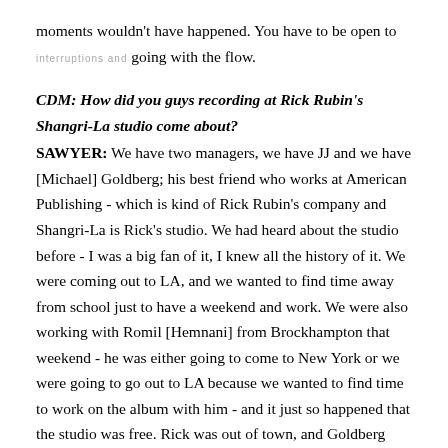moments wouldn't have happened. You have to be open to interruptions and going with the flow.
CDM: How did you guys recording at Rick Rubin's Shangri-La studio come about?
SAWYER: We have two managers, we have JJ and we have [Michael] Goldberg; his best friend who works at American Publishing - which is kind of Rick Rubin's company and Shangri-La is Rick's studio. We had heard about the studio before - I was a big fan of it, I knew all the history of it. We were coming out to LA, and we wanted to find time away from school just to have a weekend and work. We were also working with Romil [Hemnani] from Brockhampton that weekend - he was either going to come to New York or we were going to go out to LA because we wanted to find time to work on the album with him - and it just so happened that the studio was free. Rick was out of town, and Goldberg said, "If you guys want to use the studio, I'm really close with Rick and of course we can make that happen." We all freaked out, and it was such a beautiful